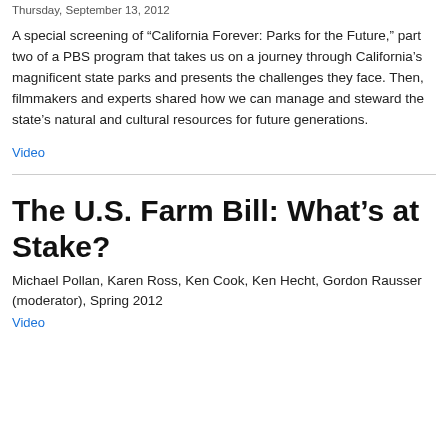Thursday, September 13, 2012
A special screening of “California Forever: Parks for the Future,” part two of a PBS program that takes us on a journey through California’s magnificent state parks and presents the challenges they face. Then, filmmakers and experts shared how we can manage and steward the state’s natural and cultural resources for future generations.
Video
The U.S. Farm Bill: What’s at Stake?
Michael Pollan, Karen Ross, Ken Cook, Ken Hecht, Gordon Rausser (moderator), Spring 2012
Video